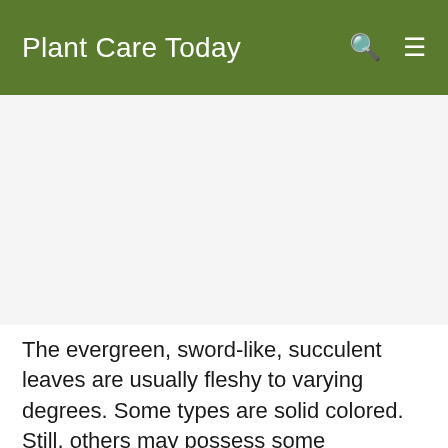Plant Care Today
[Figure (other): Advertisement or image placeholder area below the navigation header]
The evergreen, sword-like, succulent leaves are usually fleshy to varying degrees. Some types are solid colored. Still, others may possess some variegation. Some Aloe species have smooth-edged leaves coming from a central stem, while others have sharp,